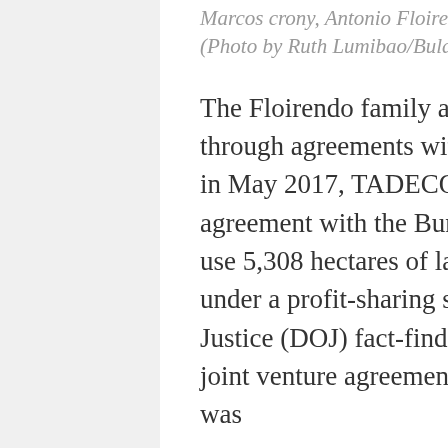Marcos crony, Antonio Floirendo. (Photo by Ruth Lumibao/Bulatlat)
The Floirendo family also acquires additional properties through agreements with government institutions. Early in May 2017, TADECO was able to enter into an agreement with the Bureau of Corrections (BuCor) to use 5,308 hectares of land in the Davao Penal Colony under a profit-sharing scheme. The Department of Justice (DOJ) fact-finding committee found that this joint venture agreement between BuCor and TADECO was